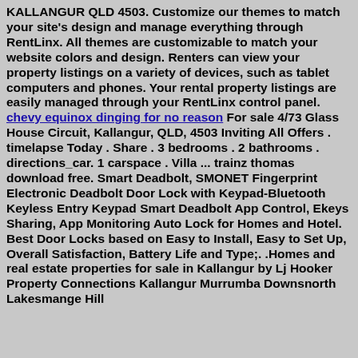KALLANGUR QLD 4503. Customize our themes to match your site's design and manage everything through RentLinx. All themes are customizable to match your website colors and design. Renters can view your property listings on a variety of devices, such as tablet computers and phones. Your rental property listings are easily managed through your RentLinx control panel. chevy equinox dinging for no reason For sale 4/73 Glass House Circuit, Kallangur, QLD, 4503 Inviting All Offers . timelapse Today . Share . 3 bedrooms . 2 bathrooms . directions_car. 1 carspace . Villa ... trainz thomas download free. Smart Deadbolt, SMONET Fingerprint Electronic Deadbolt Door Lock with Keypad-Bluetooth Keyless Entry Keypad Smart Deadbolt App Control, Ekeys Sharing, App Monitoring Auto Lock for Homes and Hotel. Best Door Locks based on Easy to Install, Easy to Set Up, Overall Satisfaction, Battery Life and Type;. .Homes and real estate properties for sale in Kallangur by Lj Hooker Property Connections Kallangur Murrumba Downsnorth Lakesmange Hill